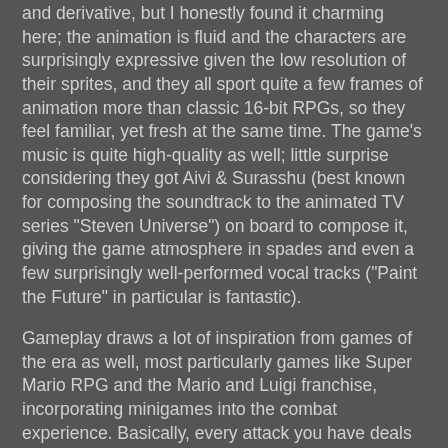and derivative, but I honestly found it charming here; the animation is fluid and the characters are surprisingly expressive given the low resolution of their sprites, and they all sport quite a few frames of animation more than classic 16-bit RPGs, so they feel familiar, yet fresh at the same time.  The game's music is quite high-quality as well; little surprise considering they got Aivi & Surasshu (best known for composing the soundtrack to the animated TV series "Steven Universe") on board to compose it, giving the game atmosphere in spades and even a few surprisingly well-performed vocal tracks ("Paint the Future" in particular is fantastic).
Gameplay draws a lot of inspiration from games of the era as well, most particularly games like Super Mario RPG and the Mario and Luigi franchise, incorporating minigames into the combat experience.  Basically, every attack you have deals additional damage if you time a button press right as the move impacts; getting it close will get you a "Nice!" and deal extra damage, while getting it perfect will earn a "Great!" and deal even more.  Similarly, enemy attacks can have their damage reduced (and status effect infliction negated) by